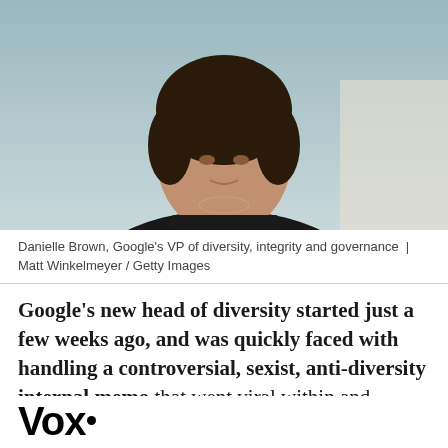[Figure (photo): Partial photo of Danielle Brown, a woman with short dark hair wearing a black top, photographed from the shoulders up against a light teal/gray background.]
Danielle Brown, Google's VP of diversity, integrity and governance | Matt Winkelmeyer / Getty Images
Google's new head of diversity started just a few weeks ago, and was quickly faced with handling a controversial, sexist, anti-diversity internal memo that went viral within and outside of the company. Recode's Kara Swisher has a wrap-up of the affair, complete with the original memo and Google VP of diversity, integrity and governance Danielle Brown's
Vox